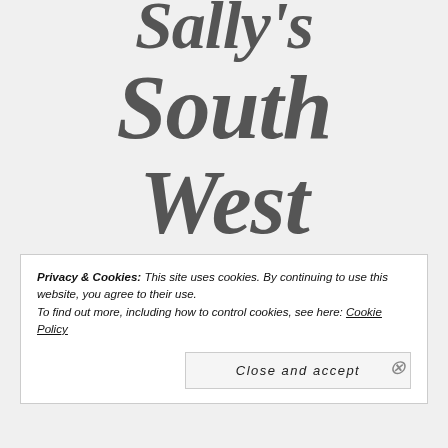Sally's South West Coast Path
Privacy & Cookies: This site uses cookies. By continuing to use this website, you agree to their use. To find out more, including how to control cookies, see here: Cookie Policy
Close and accept